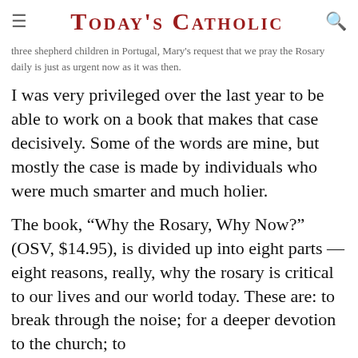TODAY'S CATHOLIC
three shepherd children in Portugal, Mary's request that we pray the Rosary daily is just as urgent now as it was then.
I was very privileged over the last year to be able to work on a book that makes that case decisively. Some of the words are mine, but mostly the case is made by individuals who were much smarter and much holier.
The book, “Why the Rosary, Why Now?” (OSV, $14.95), is divided up into eight parts — eight reasons, really, why the rosary is critical to our lives and our world today. These are: to break through the noise; for a deeper devotion to the church; to